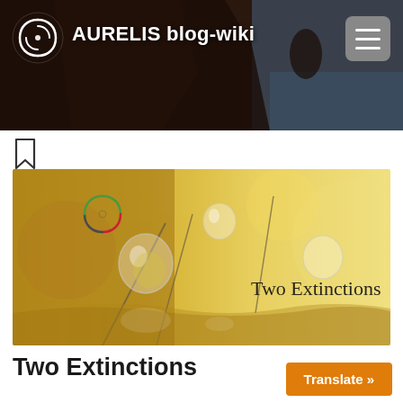AURELIS blog-wiki
[Figure (photo): Feature image for 'Two Extinctions' article showing water droplets on dandelion seeds against a yellow blurred background, with AURELIS logo overlay and text 'Two Extinctions']
Two Extinctions
Translate »